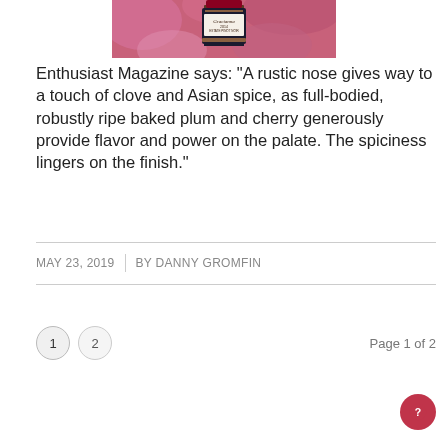[Figure (photo): A hand holding a Gracianna 2014 Estate Pinot Noir wine bottle against a pink floral background]
Enthusiast Magazine says: “A rustic nose gives way to a touch of clove and Asian spice, as full-bodied, robustly ripe baked plum and cherry generously provide flavor and power on the palate. The spiciness lingers on the finish.”
MAY 23, 2019  |  BY DANNY GROMFIN
1  2  Page 1 of 2